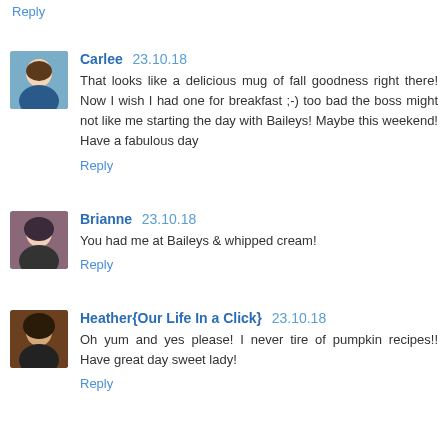Reply
Carlee 23.10.18
That looks like a delicious mug of fall goodness right there! Now I wish I had one for breakfast ;-) too bad the boss might not like me starting the day with Baileys! Maybe this weekend! Have a fabulous day
Reply
Brianne 23.10.18
You had me at Baileys & whipped cream!
Reply
Heather{Our Life In a Click} 23.10.18
Oh yum and yes please! I never tire of pumpkin recipes!! Have great day sweet lady!
Reply